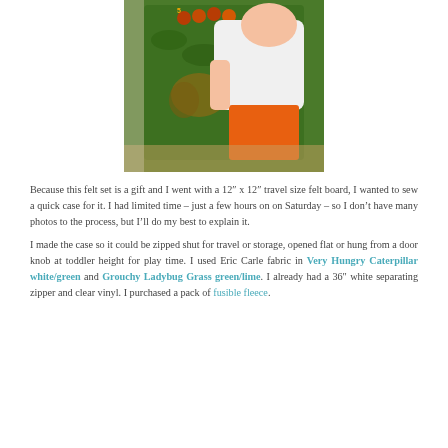[Figure (photo): A child in a white shirt and orange shorts leaning over a green felt board with a Very Hungry Caterpillar themed design, placed on the floor against a wall.]
Because this felt set is a gift and I went with a 12″ x 12″ travel size felt board, I wanted to sew a quick case for it. I had limited time – just a few hours on on Saturday – so I don’t have many photos to the process, but I’ll do my best to explain it.
I made the case so it could be zipped shut for travel or storage, opened flat or hung from a door knob at toddler height for play time. I used Eric Carle fabric in Very Hungry Caterpillar white/green and Grouchy Ladybug Grass green/lime. I already had a 36″ white separating zipper and clear vinyl. I purchased a pack of fusible fleece.